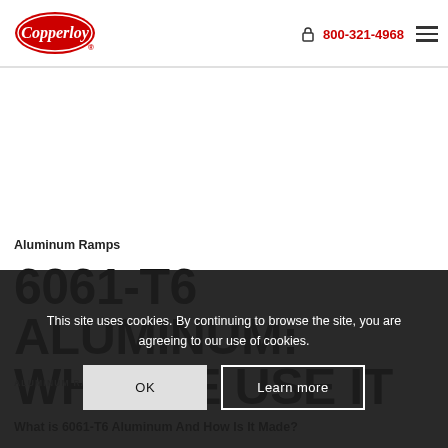Copperloy | 800-321-4968
Aluminum Ramps
6061-T6 ALUMINUM: WHY WE USE IT
ALUMINUM RAMPS /...
What is 6061-T6 Aluminum And How Is It Made?
This site uses cookies. By continuing to browse the site, you are agreeing to our use of cookies.